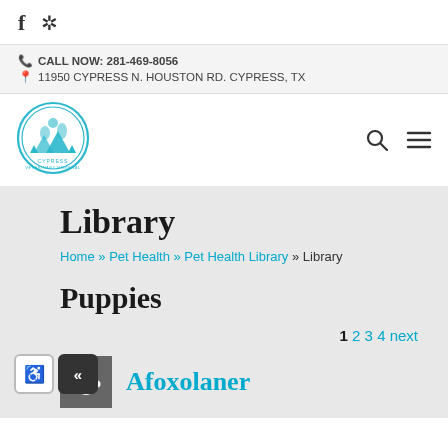f [Yelp icon]
CALL NOW: 281-469-8056
11950 CYPRESS N. HOUSTON RD. CYPRESS, TX
[Figure (logo): Cypress Veterinary Hospital circular logo with animals and trees]
Library
Home » Pet Health » Pet Health Library » Library
Puppies
1 2 3 4 next
Afoxolaner